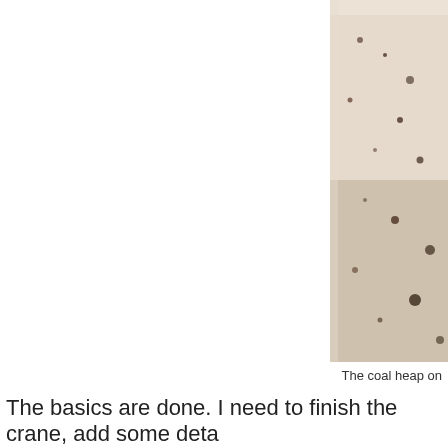[Figure (photo): Close-up photo of a coal heap model with speckled texture in light beige/cream color, partially cropped on right side of page]
The coal heap on
The basics are done. I need to finish the crane, add some deta
Posted by Bernhard Beck at 21:55    No comments:
Labels: kit bashing, Lokstation, trains, welztal
Newer Posts
Subscribe to: Posts (Atom)